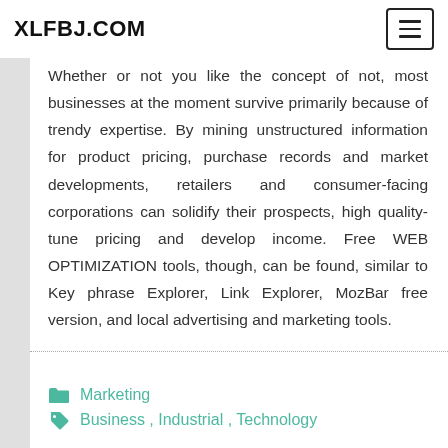XLFBJ.COM
Whether or not you like the concept of not, most businesses at the moment survive primarily because of trendy expertise. By mining unstructured information for product pricing, purchase records and market developments, retailers and consumer-facing corporations can solidify their prospects, high quality-tune pricing and develop income. Free WEB OPTIMIZATION tools, though, can be found, similar to Key phrase Explorer, Link Explorer, MozBar free version, and local advertising and marketing tools.
Marketing
Business, Industrial, Technology